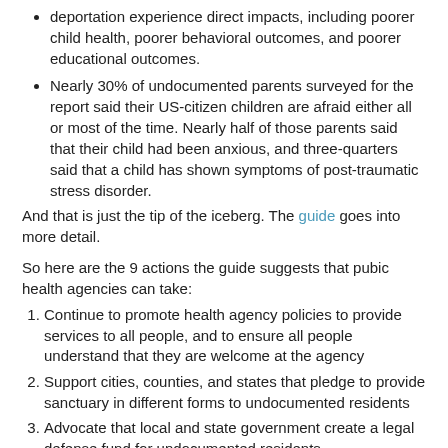deportation experience direct impacts, including poorer child health, poorer behavioral outcomes, and poorer educational outcomes.
Nearly 30% of undocumented parents surveyed for the report said their US-citizen children are afraid either all or most of the time. Nearly half of those parents said that their child had been anxious, and three-quarters said that a child has shown symptoms of post-traumatic stress disorder.
And that is just the tip of the iceberg. The guide goes into more detail.
So here are the 9 actions the guide suggests that pubic health agencies can take:
Continue to promote health agency policies to provide services to all people, and to ensure all people understand that they are welcome at the agency
Support cities, counties, and states that pledge to provide sanctuary in different forms to undocumented residents
Advocate that local and state government create a legal defense fund for undocumented residents
Connect undocumented clients and their families with legal rights and community organizing groups